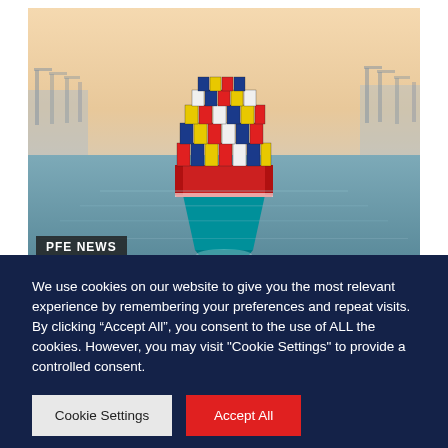[Figure (photo): Aerial front-on view of a large container ship (blue hull, stacked with red, yellow, blue, and white shipping containers) sailing toward the viewer in calm harbor water, with port cranes and industrial waterfront visible in the misty background.]
PFE NEWS
We use cookies on our website to give you the most relevant experience by remembering your preferences and repeat visits. By clicking “Accept All”, you consent to the use of ALL the cookies. However, you may visit "Cookie Settings" to provide a controlled consent.
Cookie Settings
Accept All